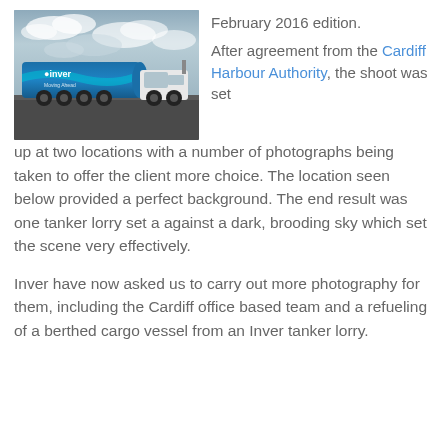[Figure (photo): An Inver-branded tanker lorry (blue and white tank truck) parked on a dark gravel surface with a cloudy sky in the background.]
February 2016 edition.

After agreement from the Cardiff Harbour Authority, the shoot was set up at two locations with a number of photographs being taken to offer the client more choice. The location seen below provided a perfect background. The end result was one tanker lorry set a against a dark, brooding sky which set the scene very effectively.

Inver have now asked us to carry out more photography for them, including the Cardiff office based team and a refueling of a berthed cargo vessel from an Inver tanker lorry.